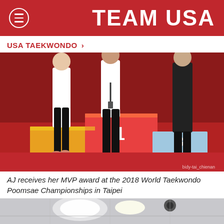TEAM USA
USA TAEKWONDO >
[Figure (photo): Three athletes standing on a colorful podium (1st place center, 3rd place right) at the 2018 World Taekwondo Poomsae Championships in Taipei. The athlete in the center on the first place podium is wearing a lanyard. A watermark reads 'bidy-tai_chienan'.]
AJ receives her MVP award at the 2018 World Taekwondo Poomsae Championships in Taipei
[Figure (photo): Partial view of an indoor room with bright ceiling lights and a security camera visible, cut off at bottom of page.]